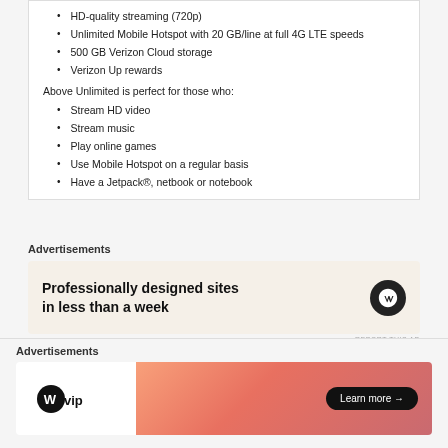HD-quality streaming (720p)
Unlimited Mobile Hotspot with 20 GB/line at full 4G LTE speeds
500 GB Verizon Cloud storage
Verizon Up rewards
Above Unlimited is perfect for those who:
Stream HD video
Stream music
Play online games
Use Mobile Hotspot on a regular basis
Have a Jetpack®, netbook or notebook
Advertisements
[Figure (illustration): WordPress advertisement banner: 'Professionally designed sites in less than a week' with WordPress logo]
REPORT THIS AD
| Phones | Monthly Plan Cost | Monthly Plan Cost with Auto Pay and Paper-Free Billing |
| --- | --- | --- |
Advertisements
[Figure (illustration): WordPress VIP advertisement with gradient orange/pink background and 'Learn more' button]